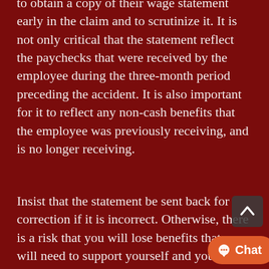to obtain a copy of their wage statement early in the claim and to scrutinize it. It is not only critical that the statement reflect the paychecks that were received by the employee during the three-month period preceding the accident. It is also important for it to reflect any non-cash benefits that the employee was previously receiving, and is no longer receiving.
Insist that the statement be sent back for correction if it is incorrect. Otherwise, there is a risk that you will lose benefits that you will need to support yourself and your family while you are healing from your injury, and that the insurance company will instead all you to...